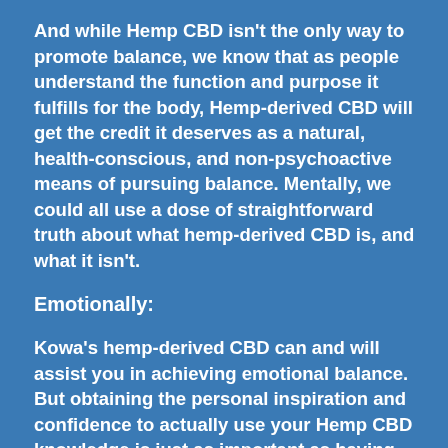And while Hemp CBD isn't the only way to promote balance, we know that as people understand the function and purpose it fulfills for the body, Hemp-derived CBD will get the credit it deserves as a natural, health-conscious, and non-psychoactive means of pursuing balance. Mentally, we could all use a dose of straightforward truth about what hemp-derived CBD is, and what it isn't.
Emotionally:
Kowa's hemp-derived CBD can and will assist you in achieving emotional balance. But obtaining the personal inspiration and confidence to actually use your Hemp CBD knowledge is just as important as having confidence in our products! Because of our transparent and straightforward approach in regards to Kowa's products, processes, and education, we are empowering individuals with confidence. We guarantee that the Kowa experience is the highest quality Hemp CBD experience on the market. And because we stand behind that claim in every sense of the word (seriously, check